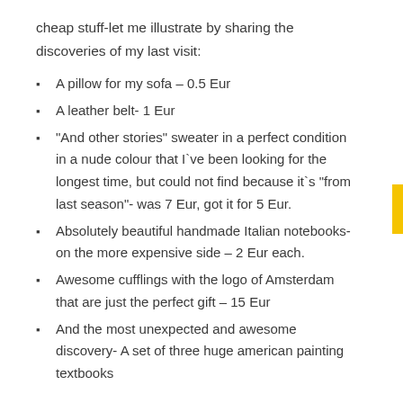cheap stuff-let me illustrate by sharing the discoveries of my last visit:
A pillow for my sofa – 0.5 Eur
A leather belt- 1 Eur
“And other stories” sweater in a perfect condition in a nude colour that I`ve been looking for the longest time, but could not find because it`s “from last season”- was 7 Eur, got it for 5 Eur.
Absolutely beautiful handmade Italian notebooks- on the more expensive side – 2 Eur each.
Awesome cufflings with the logo of Amsterdam that are just the perfect gift – 15 Eur
And the most unexpected and awesome discovery- A set of three huge american painting textbooks published in 1964. 5 (!!!) Eur for all of the...